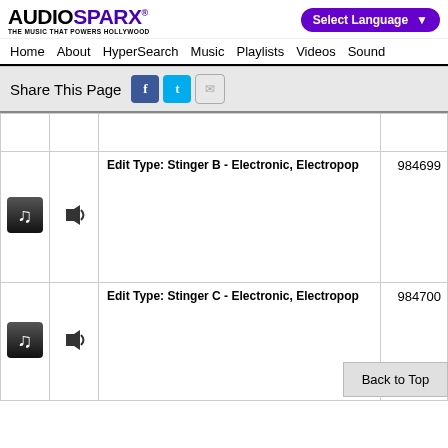[Figure (logo): AudioSparx logo - 'THE MUSIC THAT POWERS HOLLYWOOD']
Select Language | Home | About | HyperSearch | Music | Playlists | Videos | Sound
Share This Page
|  |  | Edit Type | ID |
| --- | --- | --- | --- |
| [music icon] | [speaker] | Edit Type: Stinger B - Electronic, Electropop | 984699 |
| [music icon] | [speaker] | Edit Type: Stinger C - Electronic, Electropop | 984700 |
Back to Top